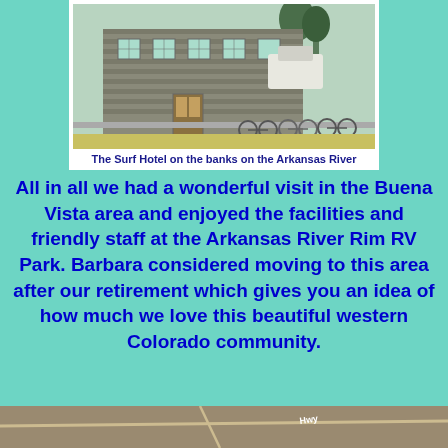[Figure (photo): Photo of the Surf Hotel on the banks of the Arkansas River, showing a stone/brick building with large windows and bicycles parked outside]
The Surf Hotel on the banks on the Arkansas River
All in all we had a wonderful visit in the Buena Vista area and enjoyed the facilities and friendly staff at the Arkansas River Rim RV Park. Barbara considered moving to this area after our retirement which gives you an idea of how much we love this beautiful western Colorado community.
[Figure (photo): Aerial/satellite map view at the bottom of the page showing roads and terrain]